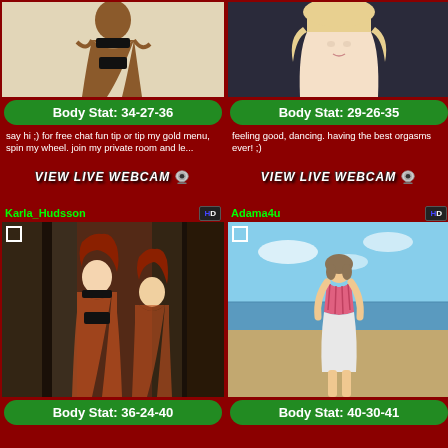[Figure (photo): Dark-skinned woman in black bikini posing on white background]
Body Stat: 34-27-36
say hi ;) for free chat fun tip or tip my gold menu, spin my wheel. join my private room and le...
[Figure (photo): VIEW LIVE WEBCAM button with webcam icon]
[Figure (photo): Blonde woman close-up portrait]
Body Stat: 29-26-35
feeling good, dancing. having the best orgasms ever! ;)
[Figure (photo): VIEW LIVE WEBCAM button with webcam icon]
Karla_Hudsson
Adama4u
[Figure (photo): Two red-haired women in lingerie indoors near pillars]
Body Stat: 36-24-40
[Figure (photo): Woman in pink top and white skirt standing on beach facing away]
Body Stat: 40-30-41